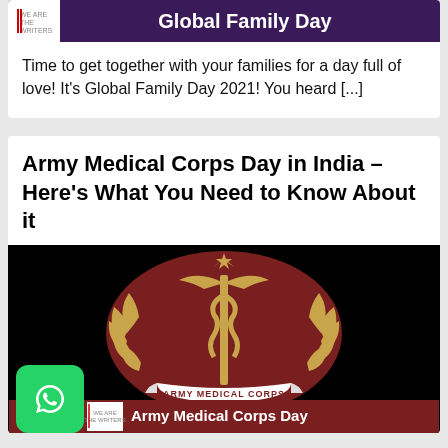[Figure (illustration): Global Family Day banner with purple background and white bold text, with a logo on the left]
Time to get together with your families for a day full of love! It’s Global Family Day 2021! You heard […]
Army Medical Corps Day in India – Here’s What You Need to Know About it
[Figure (photo): Army Medical Corps emblem on dark/black background — a maroon oval shield with a caduceus staff, crescent moon and star, laurel branches, and the text ARMY MEDICAL CORPS on a banner. Below is a partial strip showing Army Medical Corps Day text with a logo.]